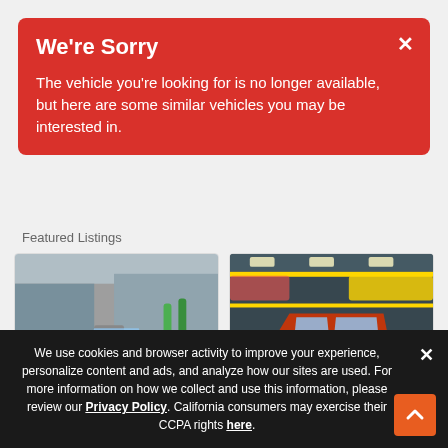We're Sorry
The vehicle you're looking for is no longer available, but here are some similar vehicles you may be interested in.
Featured Listings
[Figure (photo): Silver classic convertible muscle car in a parking lot]
[Figure (photo): Orange classic car parked in a garage/showroom with other vehicles on racks]
We use cookies and browser activity to improve your experience, personalize content and ads, and analyze how our sites are used. For more information on how we collect and use this information, please review our Privacy Policy. California consumers may exercise their CCPA rights here.